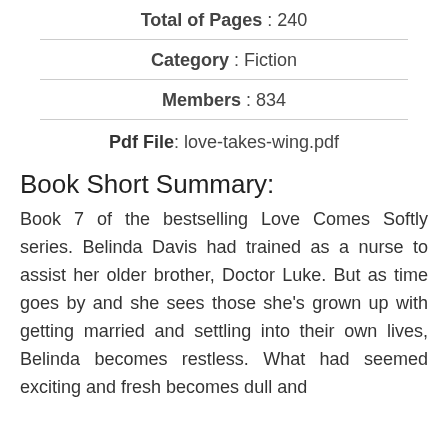Total of Pages : 240
Category : Fiction
Members : 834
Pdf File: love-takes-wing.pdf
Book Short Summary:
Book 7 of the bestselling Love Comes Softly series. Belinda Davis had trained as a nurse to assist her older brother, Doctor Luke. But as time goes by and she sees those she's grown up with getting married and settling into their own lives, Belinda becomes restless. What had seemed exciting and fresh becomes dull and